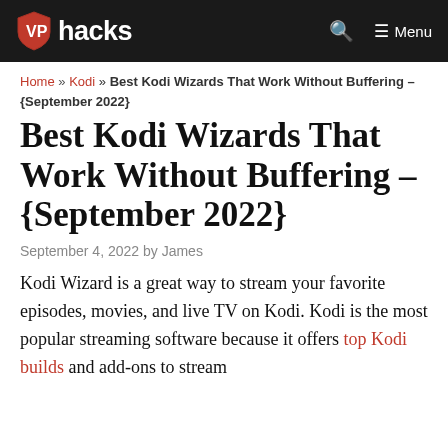VPIhacks — Menu
Home » Kodi » Best Kodi Wizards That Work Without Buffering – {September 2022}
Best Kodi Wizards That Work Without Buffering – {September 2022}
September 4, 2022 by James
Kodi Wizard is a great way to stream your favorite episodes, movies, and live TV on Kodi. Kodi is the most popular streaming software because it offers top Kodi builds and add-ons to stream